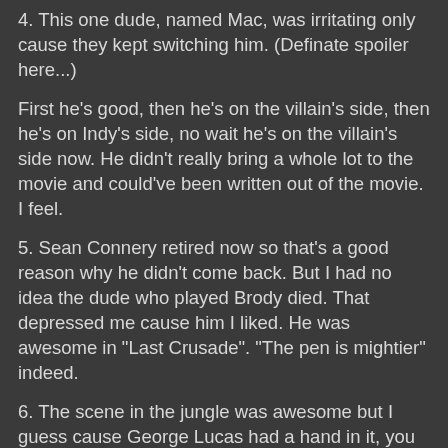4. This one dude, named Mac, was irritating only cause they kept switching him. (Definate spoiler here...)
First he's good, then he's on the villain's side, then he's on Indy's side, no wait he's on the villain's side now. He didn't really bring a whole lot to the movie and could've been written out of the movie. I feel.
5. Sean Connery retired now so that's a good reason why he didn't come back. But I had no idea the dude who played Brody died. That depressed me cause him I liked. He was awesome in "Last Crusade". "The pen is mightier" indeed.
6. The scene in the jungle was awesome but I guess cause George Lucas had a hand in it, you can totally see the green screen effect. That took me out of it.
OK that's it. I swear though, it is a great movie but I can see people having problems with the overall story, and the ending. But I didn't care, it was new and exciting and just so mothafucking awesome!!
Hey! Stop reading this and go see it now!! What's that? The